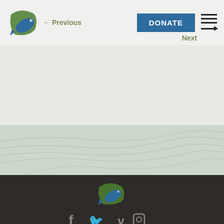[Figure (logo): Green leaf and blue fish combined logo mark in header]
Previous
DONATE
Next
[Figure (illustration): Topographic contour map pattern in muted grey-green]
[Figure (logo): Larger green leaf and blue fish combined logo mark in footer]
[Figure (illustration): Social media icons: Facebook, Twitter, Vimeo, Instagram in grey on dark background]